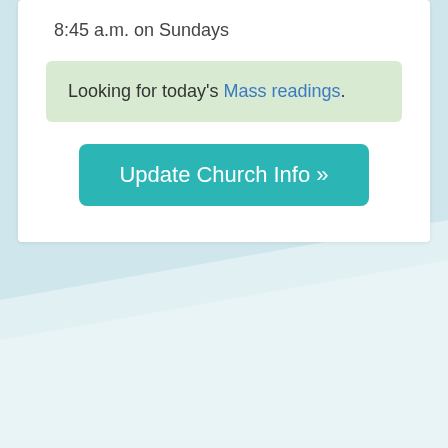8:45 a.m. on Sundays
Looking for today's Mass readings.
Update Church Info »